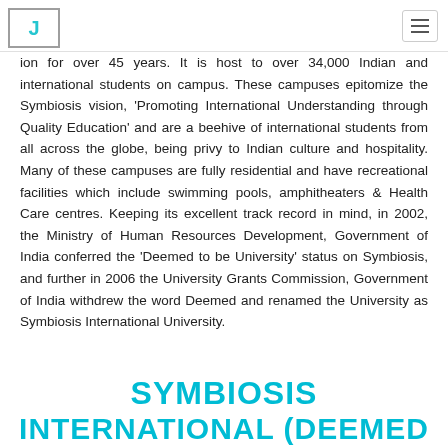J
ion for over 45 years. It is host to over 34,000 Indian and international students on campus. These campuses epitomize the Symbiosis vision, 'Promoting International Understanding through Quality Education' and are a beehive of international students from all across the globe, being privy to Indian culture and hospitality. Many of these campuses are fully residential and have recreational facilities which include swimming pools, amphitheaters & Health Care centres. Keeping its excellent track record in mind, in 2002, the Ministry of Human Resources Development, Government of India conferred the 'Deemed to be University' status on Symbiosis, and further in 2006 the University Grants Commission, Government of India withdrew the word Deemed and renamed the University as Symbiosis International University.
SYMBIOSIS INTERNATIONAL (DEEMED